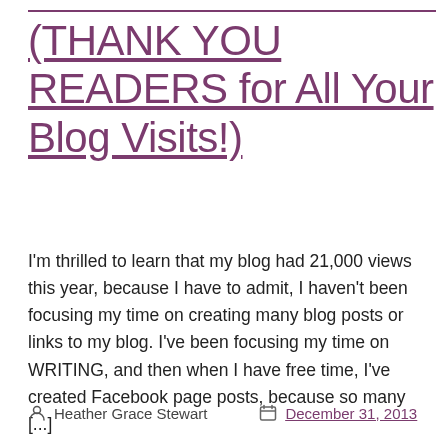(THANK YOU READERS for All Your Blog Visits!)
I'm thrilled to learn that my blog had 21,000 views this year, because I have to admit, I haven't been focusing my time on creating many blog posts or links to my blog. I've been focusing my time on WRITING, and then when I have free time, I've created Facebook page posts, because so many [...]
Heather Grace Stewart   December 31, 2013